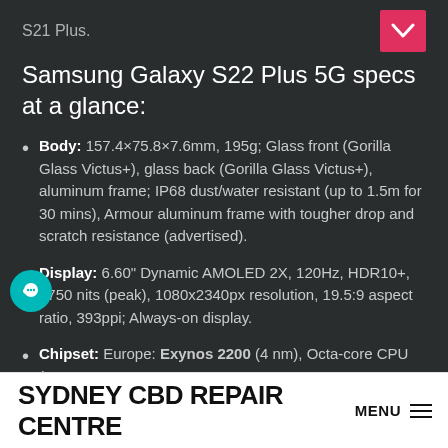S21 Plus.
Samsung Galaxy S22 Plus 5G specs at a glance:
Body: 157.4×75.8×7.6mm, 195g; Glass front (Gorilla Glass Victus+), glass back (Gorilla Glass Victus+), aluminum frame; IP68 dust/water resistant (up to 1.5m for 30 mins), Armour aluminum frame with tougher drop and scratch resistance (advertised).
Display: 6.60" Dynamic AMOLED 2X, 120Hz, HDR10+, 1750 nits (peak), 1080x2340px resolution, 19.5:9 aspect ratio, 393ppi; Always-on display.
Chipset: Europe: Exynos 2200 (4 nm), Octa-core CPU (1×2.8 GHz Cortex-X2 & 3×2.50 GHz Cortex-A710 & 4x1.8 GHz Cortex A510), Xclipse 920 GPU; Rest Of
SYDNEY CBD REPAIR CENTRE MENU ≡